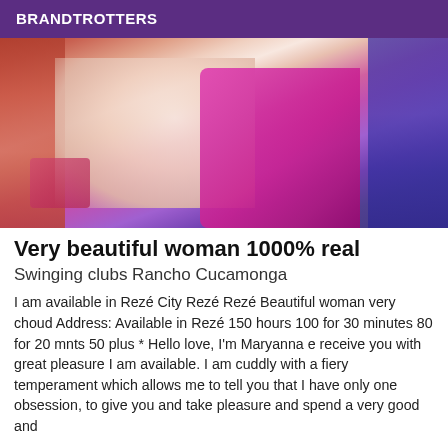BRANDTROTTERS
[Figure (photo): Close-up photo of a woman wearing a bright pink/magenta top, partially cropped, with blue hair visible on the right side and red/orange fabric on the left.]
Very beautiful woman 1000% real
Swinging clubs Rancho Cucamonga
I am available in Rezé City Rezé Rezé Beautiful woman very choud Address: Available in Rezé 150 hours 100 for 30 minutes 80 for 20 mnts 50 plus * Hello love, I'm Maryanna e receive you with great pleasure I am available. I am cuddly with a fiery temperament which allows me to tell you that I have only one obsession, to give you and take pleasure and spend a very good and